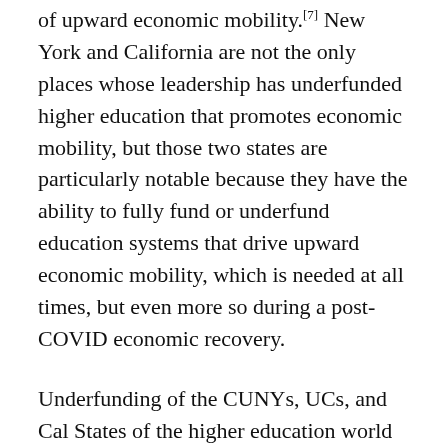of upward economic mobility.[7] New York and California are not the only places whose leadership has underfunded higher education that promotes economic mobility, but those two states are particularly notable because they have the ability to fully fund or underfund education systems that drive upward economic mobility, which is needed at all times, but even more so during a post-COVID economic recovery.
Underfunding of the CUNYs, UCs, and Cal States of the higher education world must become a prominent economic justice issue. Undermining systems that give students the opportunity to climb out of food and housing stress, and towards a life of economic stability, is economically unjust, not to mention an action that prevents people from seeing the “American Dream” (whatever is left of it) become a reality. It needs to be considered so unjust that it becomes politically dangerous for a politician, Republican or Democrat, to